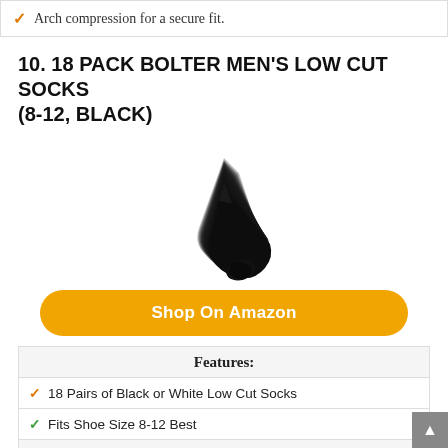✓ Arch compression for a secure fit.
10. 18 PACK BOLTER MEN'S LOW CUT SOCKS (8-12, BLACK)
[Figure (photo): Stack of 18 black low-cut socks fanned out in a triangular/chevron shape against a white background.]
Shop On Amazon
Features:
✓ 18 Pairs of Black or White Low Cut Socks
✓ Fits Shoe Size 8-12 Best
✓ Not so Low as No Show: